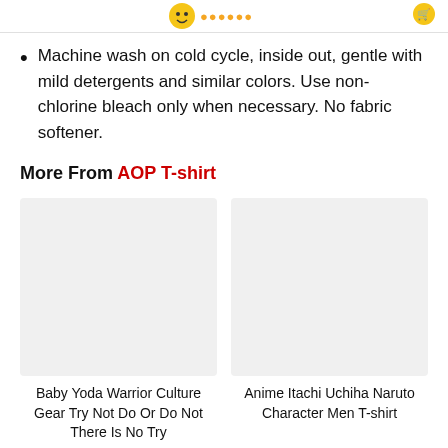Machine wash on cold cycle, inside out, gentle with mild detergents and similar colors. Use non-chlorine bleach only when necessary. No fabric softener.
More From AOP T-shirt
[Figure (photo): Product image placeholder for Baby Yoda Warrior Culture Gear Try Not Do Or Do Not There Is No Try]
Baby Yoda Warrior Culture Gear Try Not Do Or Do Not There Is No Try
[Figure (photo): Product image placeholder for Anime Itachi Uchiha Naruto Character Men T-shirt]
Anime Itachi Uchiha Naruto Character Men T-shirt